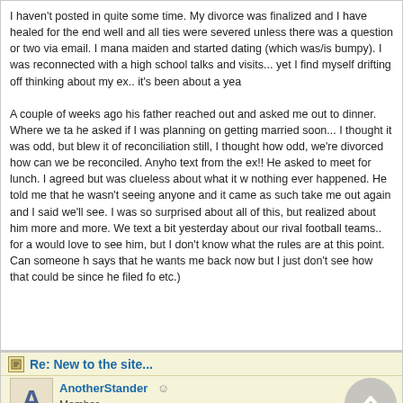I haven't posted in quite some time. My divorce was finalized and I have healed for the end well and all ties were severed unless there was a question or two via email. I mana maiden and started dating (which was/is bumpy). I was reconnected with a high school talks and visits... yet I find myself drifting off thinking about my ex.. it's been about a yea

A couple of weeks ago his father reached out and asked me out to dinner. Where we ta he asked if I was planning on getting married soon... I thought it was odd, but blew it of reconciliation still, I thought how odd, we're divorced how can we be reconciled. Anyho text from the ex!! He asked to meet for lunch. I agreed but was clueless about what it w nothing ever happened. He told me that he wasn't seeing anyone and it came as such take me out again and I said we'll see. I was so surprised about all of this, but realized about him more and more. We text a bit yesterday about our rival football teams.. for a would love to see him, but I don't know what the rules are at this point. Can someone h says that he wants me back now but I just don't see how that could be since he filed fo etc.)
Re: New to the site...
AnotherStander
Member
HB, those are VERY good signs. The number one rule in DB'ing is to give the WAS tim and truly think it's over though. Yours is a classic example, you got D'd and you assu